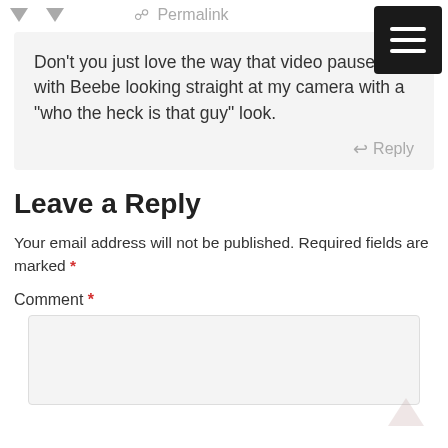Permalink
Don't you just love the way that video pauses with Beebe looking straight at my camera with a "who the heck is that guy" look.
Reply
Leave a Reply
Your email address will not be published. Required fields are marked *
Comment *